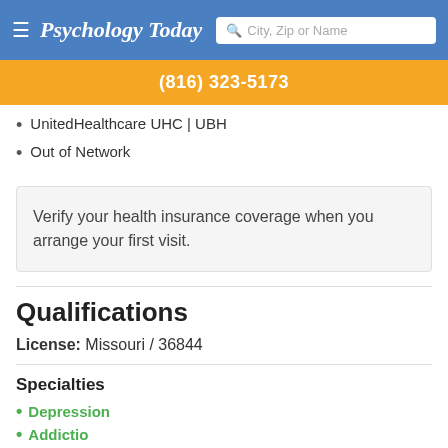Psychology Today  City, Zip or Name
(816) 323-5173
UnitedHealthcare UHC | UBH
Out of Network
Verify your health insurance coverage when you arrange your first visit.
Qualifications
License: Missouri / 36844
Specialties
Depression
Addiction